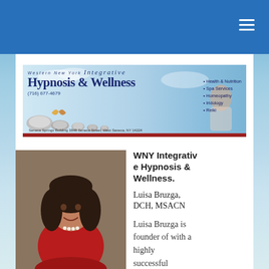navigation bar with hamburger menu
[Figure (illustration): WNY Integrative Hypnosis & Wellness banner advertisement with stones, services list, phone number (716) 677-4679, and address: Seneca Springs Building 3848 Seneca Street, West Seneca, NY 14224]
[Figure (photo): Portrait photo of Luisa Bruzga, a woman with dark hair wearing a red dress and pearl necklace]
WNY Integrative Hypnosis & Wellness.
Luisa Bruzga, DCH, MSACN
Luisa Bruzga is founder of with a highly successful